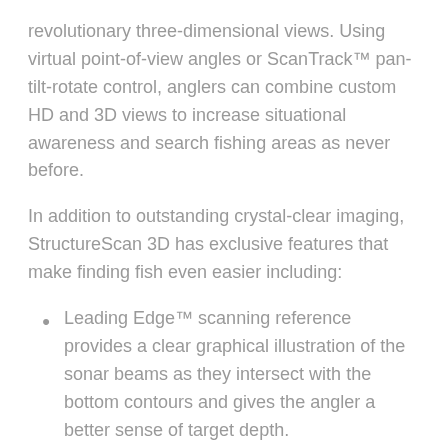revolutionary three-dimensional views. Using virtual point-of-view angles or ScanTrack™ pan-tilt-rotate control, anglers can combine custom HD and 3D views to increase situational awareness and search fishing areas as never before.
In addition to outstanding crystal-clear imaging, StructureScan 3D has exclusive features that make finding fish even easier including:
Leading Edge™ scanning reference provides a clear graphical illustration of the sonar beams as they intersect with the bottom contours and gives the angler a better sense of target depth.
SelectScan™ water column target colouring automatically shades fish-holding cover and suspended targets in a colour that contrasts the selected colour palette, making target identification quicker and easier than ever before.